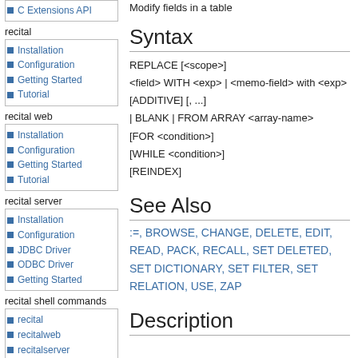C Extensions API
recital
Installation
Configuration
Getting Started
Tutorial
recital web
Installation
Configuration
Getting Started
Tutorial
recital server
Installation
Configuration
JDBC Driver
ODBC Driver
Getting Started
recital shell commands
recital
recitalweb
recitalserver
recitaladmin
recitalreplication
Modify fields in a table
Syntax
REPLACE [<scope>]
<field> WITH <exp> | <memo-field> with <exp> [ADDITIVE] [, ...]
| BLANK | FROM ARRAY <array-name>
[FOR <condition>]
[WHILE <condition>]
[REINDEX]
See Also
:=, BROWSE, CHANGE, DELETE, EDIT, READ, PACK, RECALL, SET DELETED, SET DICTIONARY, SET FILTER, SET RELATION, USE, ZAP
Description